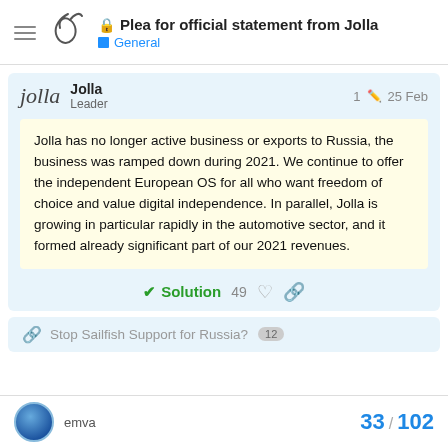Plea for official statement from Jolla — General
Jolla
Leader
1 (edited) 25 Feb
Jolla has no longer active business or exports to Russia, the business was ramped down during 2021. We continue to offer the independent European OS for all who want freedom of choice and value digital independence. In parallel, Jolla is growing in particular rapidly in the automotive sector, and it formed already significant part of our 2021 revenues.
✓ Solution  49
Stop Sailfish Support for Russia? 12
emva  33 / 102